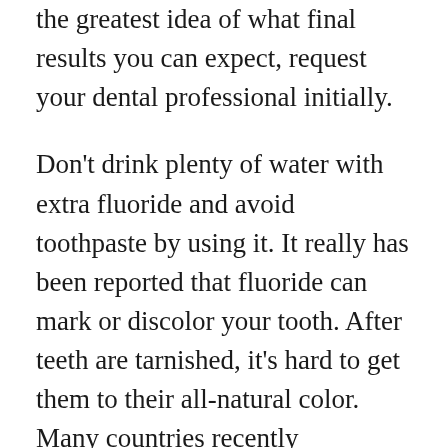the greatest idea of what final results you can expect, request your dental professional initially.
Don't drink plenty of water with extra fluoride and avoid toothpaste by using it. It really has been reported that fluoride can mark or discolor your tooth. After teeth are tarnished, it's hard to get them to their all-natural color. Many countries recently suspended fluoride since it has been reported to result in illness.
Whitening mouthwash might help brighten your smile. It may take a few months right up until effects commence developing with this particular technique, but it can help. Most mouthwashes